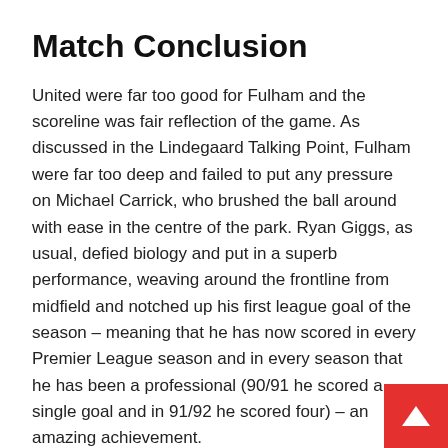Match Conclusion
United were far too good for Fulham and the scoreline was fair reflection of the game. As discussed in the Lindegaard Talking Point, Fulham were far too deep and failed to put any pressure on Michael Carrick, who brushed the ball around with ease in the centre of the park. Ryan Giggs, as usual, defied biology and put in a superb performance, weaving around the frontline from midfield and notched up his first league goal of the season – meaning that he has now scored in every Premier League season and in every season that he has been a professional (90/91 he scored a single goal and in 91/92 he scored four) – an amazing achievement.
Nani was superb, setting up two and scoring with a header, whilst Rooney and Welbeck look like they are regaining their early season partnership form. One big concern is the injuries that United are picking up, with both Jones and Young leaving the field through injury. Phil Jones (who apparently is to have